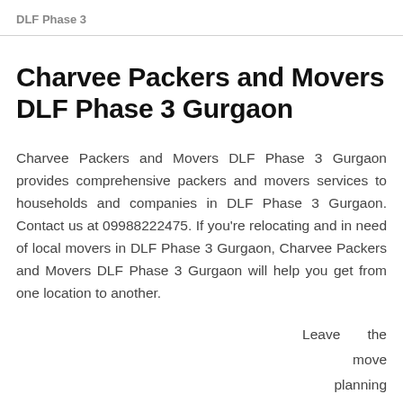DLF Phase 3
Charvee Packers and Movers DLF Phase 3 Gurgaon
Charvee Packers and Movers DLF Phase 3 Gurgaon provides comprehensive packers and movers services to households and companies in DLF Phase 3 Gurgaon. Contact us at 09988222475. If you're relocating and in need of local movers in DLF Phase 3 Gurgaon, Charvee Packers and Movers DLF Phase 3 Gurgaon will help you get from one location to another.
Leave the move planning